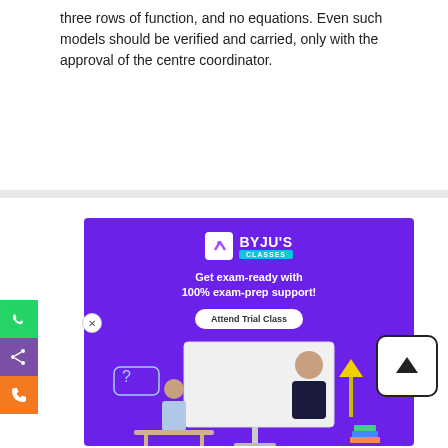three rows of function, and no equations. Even such models should be verified and carried, only with the approval of the centre coordinator.
[Figure (illustration): BYJU'S Classes advertisement banner with purple background. Shows BYJU'S Classes logo, tagline 'Get exam-ready with 100% exam-prep support!', an 'Attend Trial Class' button, and an illustration of a student studying online with a teacher on screen.]